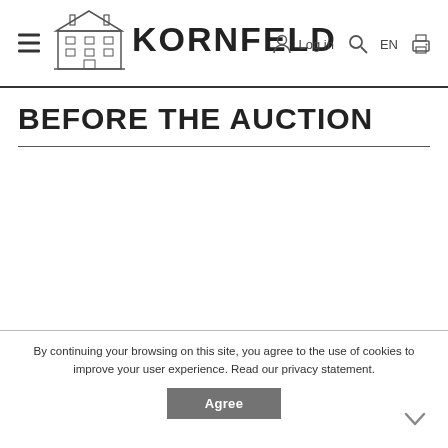KORNFELD — Log in EN [hamburger menu, logo, search, print icons]
BEFORE THE AUCTION
By continuing your browsing on this site, you agree to the use of cookies to improve your user experience. Read our privacy statement.
Agree